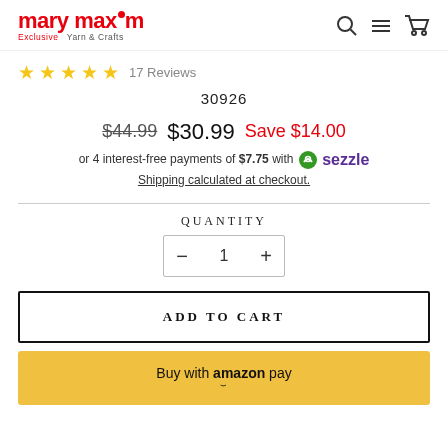mary maxim Exclusive Yarn & Crafts
★★★★★ 17 Reviews
30926
$44.99 $30.99 Save $14.00
or 4 interest-free payments of $7.75 with Sezzle
Shipping calculated at checkout.
QUANTITY
- 1 +
ADD TO CART
Buy with amazon pay